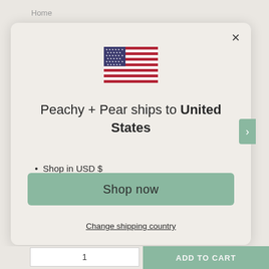Home
[Figure (illustration): US flag emoji/icon centered in modal dialog]
Peachy + Pear ships to United States
Shop in USD $
Get shipping options for United States
Shop now
Change shipping country